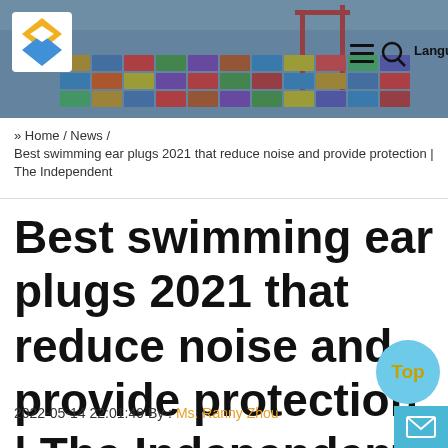[Figure (screenshot): Website header banner with shipping containers in background, logo on left, hamburger menu, search icon, and Language button on right]
» Home / News / Best swimming ear plugs 2021 that reduce noise and provide protection | The Independent
Best swimming ear plugs 2021 that reduce noise and provide protection | The Independent
2022-05-14 22:01:49 By : Ms. Ranny Zhou